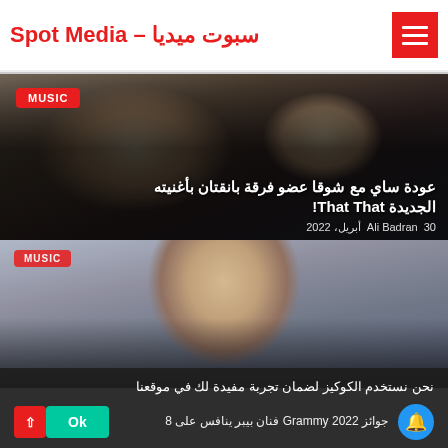سبوت ميديا – Spot Media
[Figure (photo): Article card with dark overlay showing two people, with MUSIC tag, Arabic headline about PSY returning with his band member Suga with their new song That That, dated 30 April 2022 by Ali Badran]
[Figure (photo): Article card showing a young male celebrity close-up portrait in blue-tinted lighting, partially covered by cookie consent banner]
نحن نستخدم الكوكيز لضمان تجربة مفيدة لك في موقعنا
جوائز Grammy 2022 فنان بيبر ينافس على 8